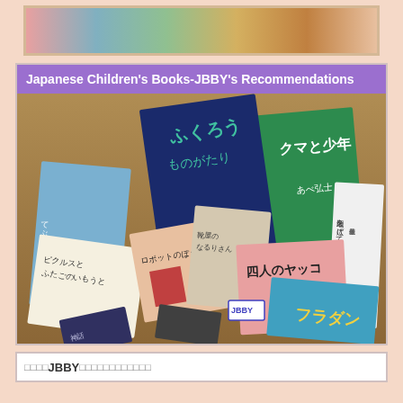[Figure (photo): Top banner photo showing colorful children's books or artwork spread out]
Japanese Children's Books-JBBY's Recommendations
[Figure (photo): Photo of multiple Japanese children's books spread out on a wooden surface, including titles in Japanese such as クマと少年, 四人のヤッコ, フラダン, and others]
JBBY